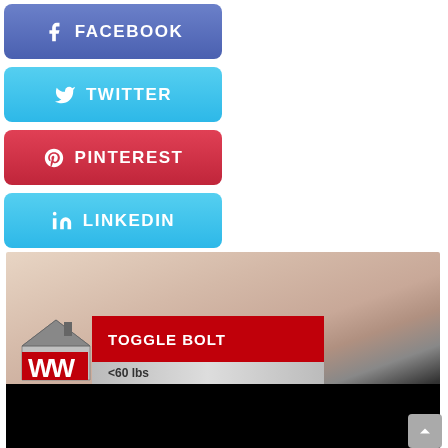[Figure (screenshot): Social media share buttons: Facebook (blue-purple), Twitter (light blue), Pinterest (red), LinkedIn (light blue), each with icon and label in white bold text]
[Figure (screenshot): Video screenshot showing a surface/material background with a lower-third graphic overlay: WW logo on left, red bar reading 'TOGGLE BOLT', grey bar reading '<60 lbs', black bar at bottom]